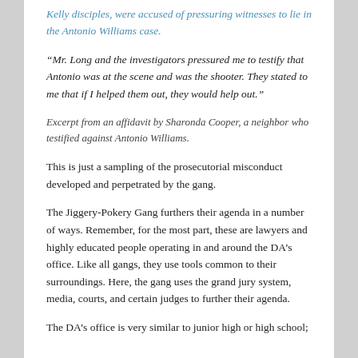Kelly disciples, were accused of pressuring witnesses to lie in the Antonio Williams case.
“Mr. Long and the investigators pressured me to testify that Antonio was at the scene and was the shooter. They stated to me that if I helped them out, they would help out.”
Excerpt from an affidavit by Sharonda Cooper, a neighbor who testified against Antonio Williams.
This is just a sampling of the prosecutorial misconduct developed and perpetrated by the gang.
The Jiggery-Pokery Gang furthers their agenda in a number of ways. Remember, for the most part, these are lawyers and highly educated people operating in and around the DA’s office. Like all gangs, they use tools common to their surroundings. Here, the gang uses the grand jury system, media, courts, and certain judges to further their agenda.
The DA’s office is very similar to junior high or high school;